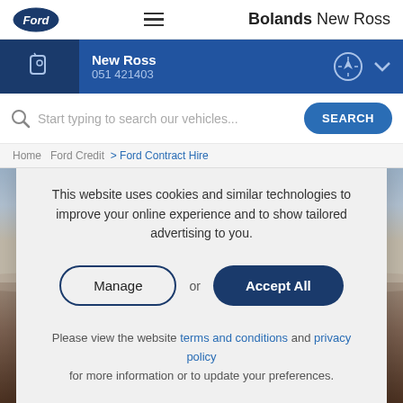Bolands New Ross
New Ross
051 421403
Start typing to search our vehicles...
Home  Ford Credit  >  Ford Contract Hire
[Figure (screenshot): Background landscape photo of a road/desert scene]
This website uses cookies and similar technologies to improve your online experience and to show tailored advertising to you.
Manage  or  Accept All
Please view the website terms and conditions and privacy policy for more information or to update your preferences.